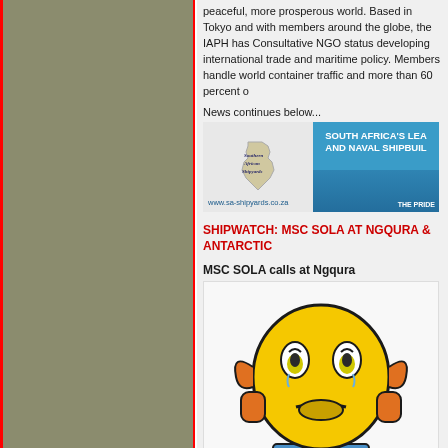peaceful, more prosperous world. Based in Tokyo and with members around the globe, the IAPH has Consultative NGO status developing international trade and maritime policy. Members handle world container traffic and more than 60 percent of
News continues below...
[Figure (illustration): Southern African Shipyards advertisement banner with logo and text: SOUTH AFRICA'S LEADING AND NAVAL SHIPBUILDING. Website www.sa-shipyards.co.za. THE PRIDE.]
SHIPWATCH: MSC SOLA AT NGQURA & ANTARCTIC
MSC SOLA calls at Ngqura
[Figure (illustration): Worried/sad emoji face cartoon character - yellow round face with tears, hands on cheeks, blue shoes]